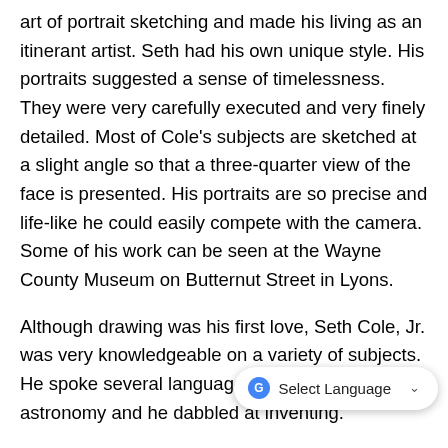art of portrait sketching and made his living as an itinerant artist. Seth had his own unique style. His portraits suggested a sense of timelessness. They were very carefully executed and very finely detailed. Most of Cole's subjects are sketched at a slight angle so that a three-quarter view of the face is presented. His portraits are so precise and life-like he could easily compete with the camera. Some of his work can be seen at the Wayne County Museum on Butternut Street in Lyons.
Although drawing was his first love, Seth Cole, Jr. was very knowledgeable on a variety of subjects. He spoke several languages, his hobby was astronomy and he dabbled at inventing.
Seth Cole, Jr. died at his home in Alton on December 23, 1903. Having attained the age o… his talent or zest for life. He was described as "an artist of superior talent, a man of exalted intelligence, a poet